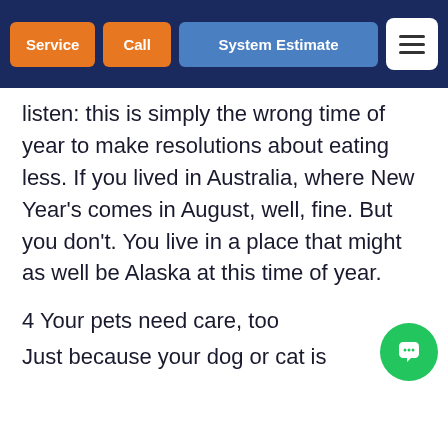Service | Call | System Estimate | Menu
listen: this is simply the wrong time of year to make resolutions about eating less. If you lived in Australia, where New Year's comes in August, well, fine. But you don't. You live in a place that might as well be Alaska at this time of year.
4 Your pets need care, too
Just because your dog or cat is